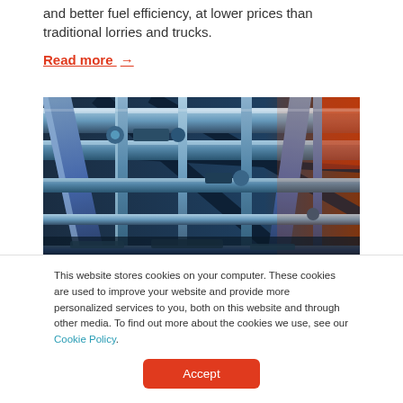and better fuel efficiency, at lower prices than traditional lorries and trucks.
Read more →
[Figure (photo): Industrial pipes and pipeline infrastructure photographed from a low angle, showing blue-toned metallic pipes, valves, and fittings in an industrial facility with warm orange light on the right side.]
This website stores cookies on your computer. These cookies are used to improve your website and provide more personalized services to you, both on this website and through other media. To find out more about the cookies we use, see our Cookie Policy.
Accept